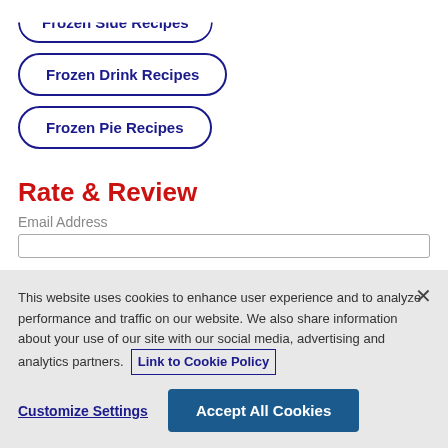Frozen Drink Recipes
Frozen Pie Recipes
Rate & Review
Email Address
This website uses cookies to enhance user experience and to analyze performance and traffic on our website. We also share information about your use of our site with our social media, advertising and analytics partners. Link to Cookie Policy
Customize Settings
Accept All Cookies